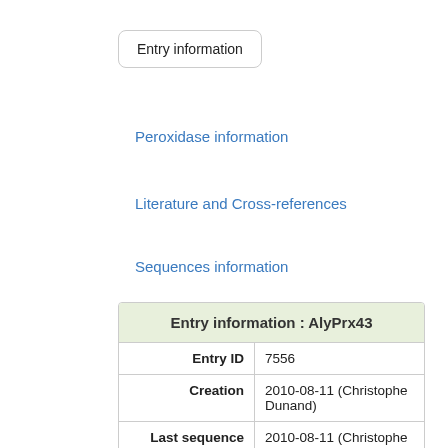Entry information
Peroxidase information
Literature and Cross-references
Sequences information
| Entry information : AlyPrx43 |
| --- |
| Entry ID | 7556 |
| Creation | 2010-08-11 (Christophe Dunand) |
| Last sequence changes | 2010-08-11 (Christophe Dunand) |
| Sequence status | complete |
| Reviewer | Not yet reviewed |
| Last annotation changes | 2010-12-24 (Marie Brette (Scipio)) |